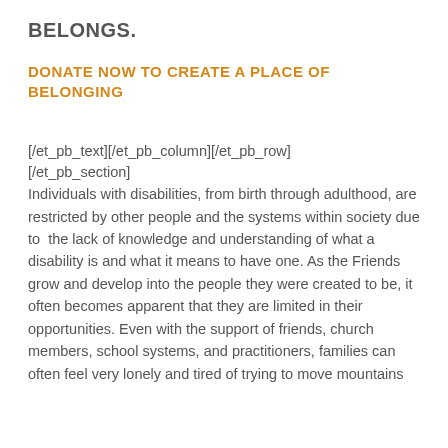BELONGS.
DONATE NOW TO CREATE A PLACE OF BELONGING
[/et_pb_text][/et_pb_column][/et_pb_row]
[/et_pb_section]
Individuals with disabilities, from birth through adulthood, are restricted by other people and the systems within society due to  the lack of knowledge and understanding of what a disability is and what it means to have one. As the Friends grow and develop into the people they were created to be, it often becomes apparent that they are limited in their opportunities. Even with the support of friends, church members, school systems, and practitioners, families can often feel very lonely and tired of trying to move mountains